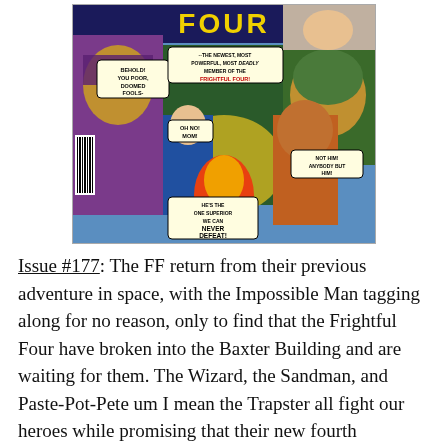[Figure (illustration): Comic book cover of Fantastic Four issue #177. Shows villains including a purple-robed figure and green-helmeted figure with speech bubbles. The Fantastic Four members visible including a blue-suited figure and The Thing. A flaming figure in red/orange at the bottom. Speech bubbles read: 'BEHOLD! YOU POOR, DOOMED FOOLS-', '--THE NEWEST, MOST POWERFUL, MOST DEADLY MEMBER OF THE FRIGHTFUL FOUR!', 'OH NO! MOM!', 'NOT HIM! ANYBODY BUT HIM!', 'HE'S THE ONE SUPERIOR WE CAN NEVER DEFEAT!' A barcode is visible on the left side.]
Issue #177: The FF return from their previous adventure in space, with the Impossible Man tagging along for no reason, only to find that the Frightful Four have broken into the Baxter Building and are waiting for them. The Wizard, the Sandman, and Paste-Pot-Pete um I mean the Trapster all fight our heroes while promising that their new fourth member will surprise us. It turns out, after fighting